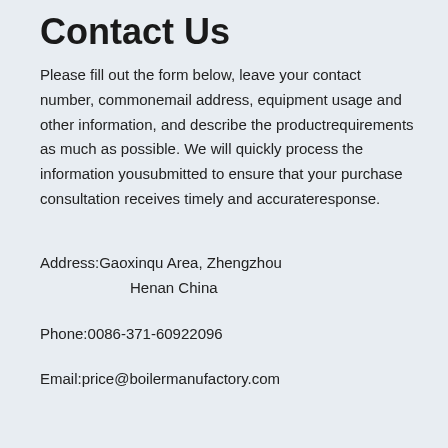Contact Us
Please fill out the form below, leave your contact number, commonemail address, equipment usage and other information, and describe the productrequirements as much as possible. We will quickly process the information yousubmitted to ensure that your purchase consultation receives timely and accurateresponse.
Address:Gaoxinqu Area, Zhengzhou Henan China
Phone:0086-371-60922096
Email:price@boilermanufactory.com